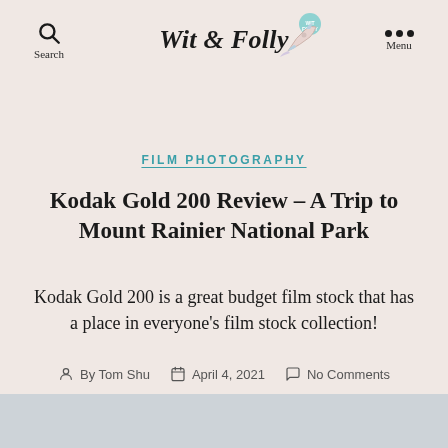Wit & Folly — Search | Menu
FILM PHOTOGRAPHY
Kodak Gold 200 Review – A Trip to Mount Rainier National Park
Kodak Gold 200 is a great budget film stock that has a place in everyone's film stock collection!
By Tom Shu   April 4, 2021   No Comments